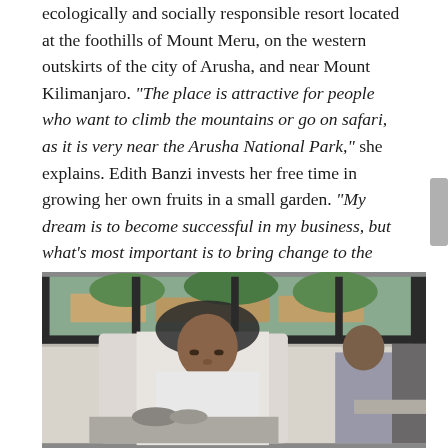ecologically and socially responsible resort located at the foothills of Mount Meru, on the western outskirts of the city of Arusha, and near Mount Kilimanjaro. "The place is attractive for people who want to climb the mountains or go on safari, as it is very near the Arusha National Park," she explains. Edith Banzi invests her free time in growing her own fruits in a small garden. "My dream is to become successful in my business, but what's most important is to bring change to the lives of people around me. If I'm able to help young women and men become responsible citizens and hardworking adults, then I will consider myself a successful woman in Tanzania," she concludes.
[Figure (photo): A woman wearing a white chef uniform and a white hair net looks downward, working in what appears to be a kitchen. She is in the foreground. Behind her is a window showing rooftops and greenery outside, and another person in the background near kitchen equipment.]